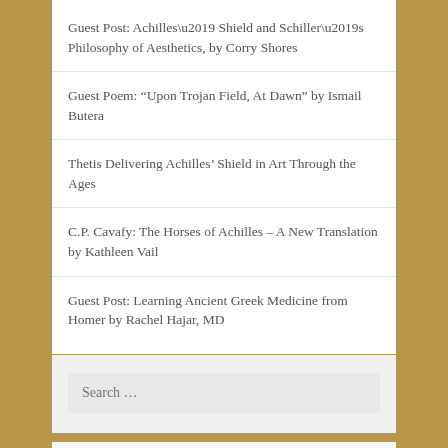Guest Post: Achilles’ Shield and Schiller’s Philosophy of Aesthetics, by Corry Shores
Guest Poem: “Upon Trojan Field, At Dawn” by Ismail Butera
Thetis Delivering Achilles’ Shield in Art Through the Ages
C.P. Cavafy: The Horses of Achilles – A New Translation by Kathleen Vail
Guest Post: Learning Ancient Greek Medicine from Homer by Rachel Hajar, MD
Search …